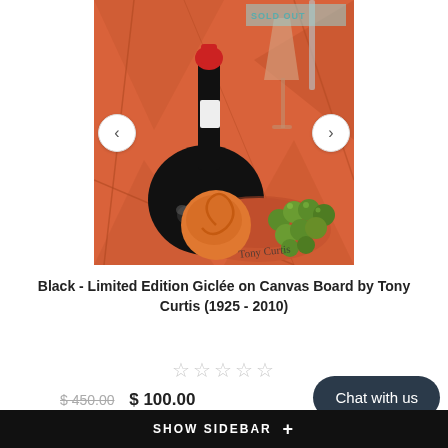[Figure (photo): A still-life painting on orange/red background showing a dark wine bottle with red stopper, a wine glass, a bowl of green grapes, and an orange fruit, painted in a cubist style. Artist signature visible at bottom right. 'SOLD OUT' badge in upper right corner.]
Black - Limited Edition Giclée on Canvas Board by Tony Curtis (1925 - 2010)
☆☆☆☆☆
$ 450.00  $ 100.00
Chat with us
SHOW SIDEBAR +